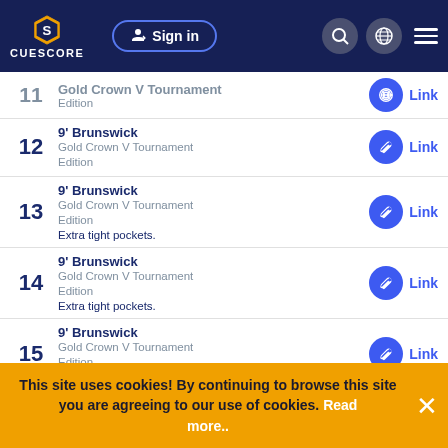CUESCORE - Sign in
11 - Gold Crown V Tournament Edition - Link
12 - 9' Brunswick Gold Crown V Tournament Edition - Link
13 - 9' Brunswick Gold Crown V Tournament Edition - Extra tight pockets. - Link
14 - 9' Brunswick Gold Crown V Tournament Edition - Extra tight pockets. - Link
15 - 9' Brunswick Gold Crown V Tournament Edition - Extra tight pockets. - Link
16 - 9' Brunswick Gold Crown V Tournament Edition - Link
This site uses cookies! By continuing to browse this site you are agreeing to our use of cookies. Read more..